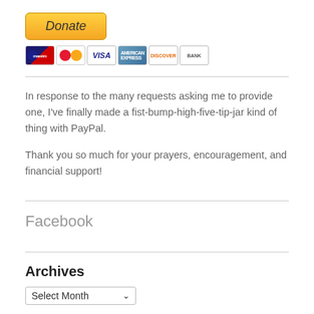[Figure (other): PayPal Donate button with payment card icons (Maestro, Mastercard, Visa, American Express, Discover, Bank)]
In response to the many requests asking me to provide one, I've finally made a fist-bump-high-five-tip-jar kind of thing with PayPal.
Thank you so much for your prayers, encouragement, and financial support!
Facebook
Archives
[Figure (other): Select Month dropdown widget]